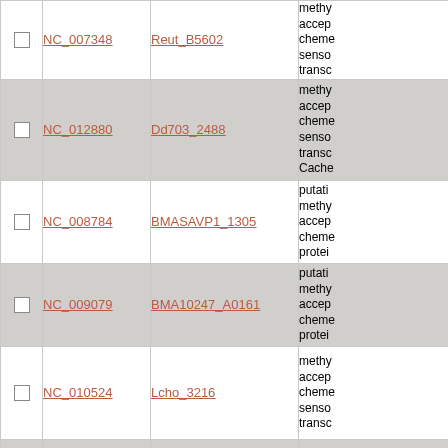|  | Accession | Gene | Description |
| --- | --- | --- | --- |
| ☐ | NC_007348 | Reut_B5602 | methy- accep- cheme- senso- transc- |
| ☐ | NC_012880 | Dd703_2488 | methy- accep- cheme- senso- transc- Cache |
| ☐ | NC_008784 | BMASAVP1_1305 | putati- methy- accep- cheme- protei- |
| ☐ | NC_009079 | BMA10247_A0161 | putati- methy- accep- cheme- protei- |
| ☐ | NC_010524 | Lcho_3216 | methy- accep- cheme- senso- transc- |
| ☐ | NC_007974 | Rmet_3683 | methy- accep- cheme- |